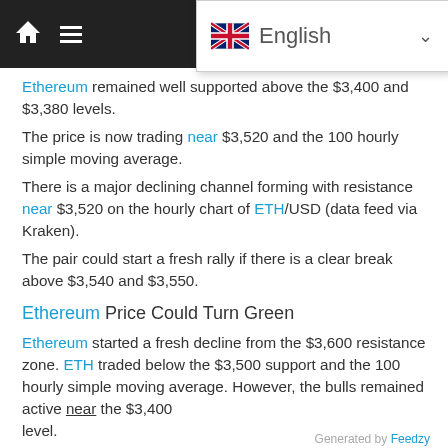Navigation bar with home icon, menu icon, and English language dropdown
Ethereum remained well supported above the $3,400 and $3,380 levels.
The price is now trading near $3,520 and the 100 hourly simple moving average.
There is a major declining channel forming with resistance near $3,520 on the hourly chart of ETH/USD (data feed via Kraken).
The pair could start a fresh rally if there is a clear break above $3,540 and $3,550.
Ethereum Price Could Turn Green
Ethereum started a fresh decline from the $3,600 resistance zone. ETH traded below the $3,500 support and the 100 hourly simple moving average. However, the bulls remained active near the $3,400 level.